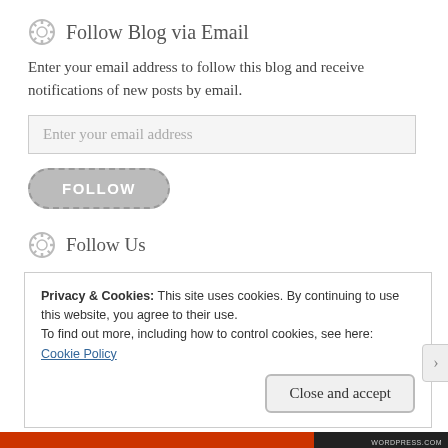Follow Blog via Email
Enter your email address to follow this blog and receive notifications of new posts by email.
[Figure (screenshot): Email input field with placeholder text 'Enter your email address']
[Figure (screenshot): FOLLOW button with rounded rectangle shape and dashed border]
Follow Us
Privacy & Cookies: This site uses cookies. By continuing to use this website, you agree to their use.
To find out more, including how to control cookies, see here: Cookie Policy
[Figure (screenshot): Close and accept button]